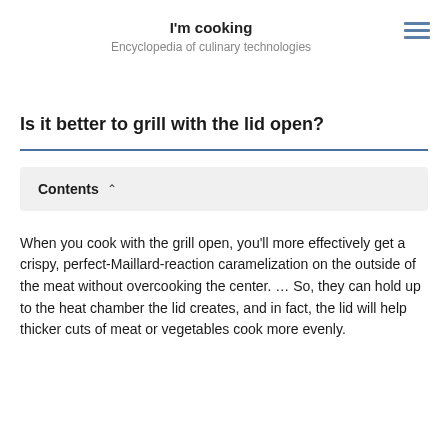I'm cooking
Encyclopedia of culinary technologies
Is it better to grill with the lid open?
Contents
When you cook with the grill open, you'll more effectively get a crispy, perfect-Maillard-reaction caramelization on the outside of the meat without overcooking the center. … So, they can hold up to the heat chamber the lid creates, and in fact, the lid will help thicker cuts of meat or vegetables cook more evenly.